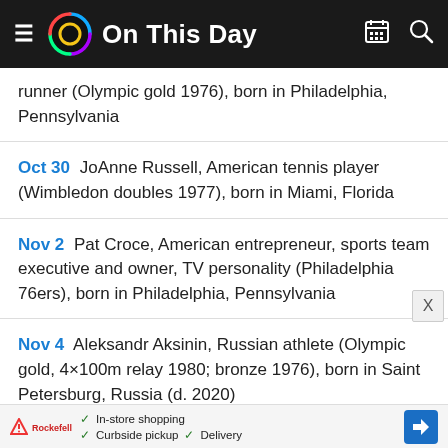On This Day
runner (Olympic gold 1976), born in Philadelphia, Pennsylvania
Oct 30 JoAnne Russell, American tennis player (Wimbledon doubles 1977), born in Miami, Florida
Nov 2 Pat Croce, American entrepreneur, sports team executive and owner, TV personality (Philadelphia 76ers), born in Philadelphia, Pennsylvania
Nov 4 Aleksandr Aksinin, Russian athlete (Olympic gold, 4×100m relay 1980; bronze 1976), born in Saint Petersburg, Russia (d. 2020)